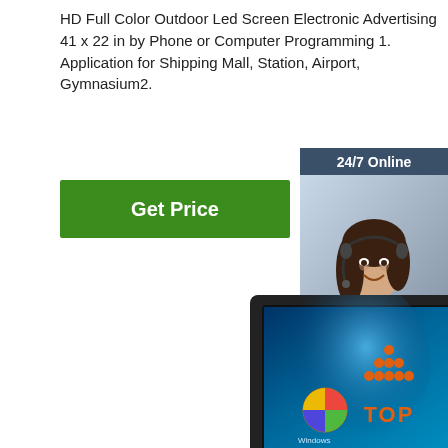HD Full Color Outdoor Led Screen Electronic Advertising 41 x 22 in by Phone or Computer Programming 1. Application for Shipping Mall, Station, Airport, Gymnasium2.
Get Price
[Figure (photo): Customer support representative with headset, smiling. Dark background with '24/7 Online' header and 'Click here for free chat!' text, orange QUOTATION button below.]
[Figure (photo): Outdoor LED advertising screen / monitor displaying Windows XP-style desktop, black frame, angled view.]
[Figure (illustration): TOP icon with orange dots arranged in triangle above the text TOP in orange bold letters.]